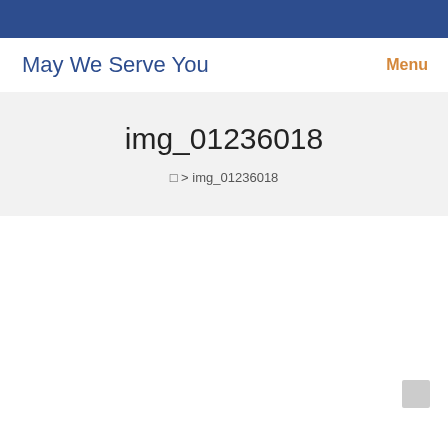May We Serve You
Menu
img_01236018
□ > img_01236018